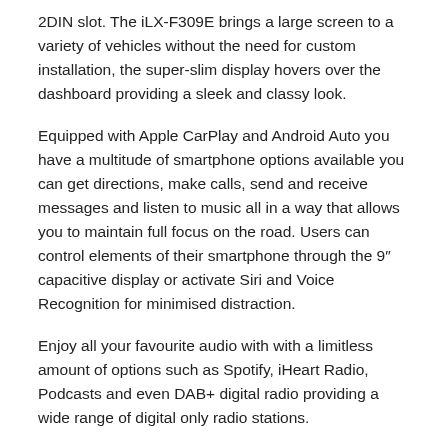2DIN slot. The iLX-F309E brings a large screen to a variety of vehicles without the need for custom installation, the super-slim display hovers over the dashboard providing a sleek and classy look.
Equipped with Apple CarPlay and Android Auto you have a multitude of smartphone options available you can get directions, make calls, send and receive messages and listen to music all in a way that allows you to maintain full focus on the road. Users can control elements of their smartphone through the 9″ capacitive display or activate Siri and Voice Recognition for minimised distraction.
Enjoy all your favourite audio with with a limitless amount of options such as Spotify, iHeart Radio, Podcasts and even DAB+ digital radio providing a wide range of digital only radio stations.